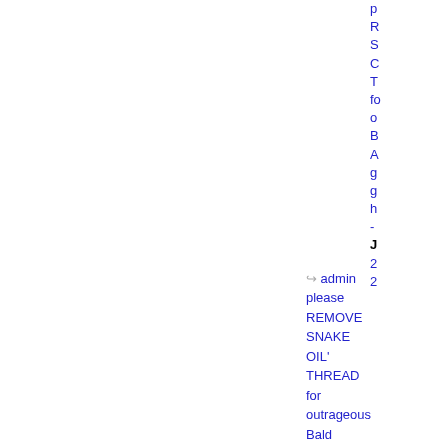p R S C T fo o B A g g h - J 2 2
admin please REMOVE SNAKE OIL' THREAD for outrageous Bald